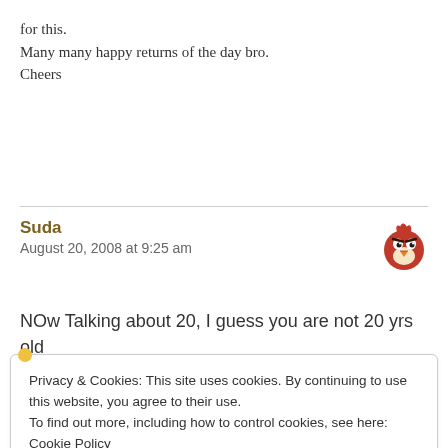for this.
Many many happy returns of the day bro.
Cheers
Suda
August 20, 2008 at 9:25 am
NOw Talking about 20, I guess you are not 20 yrs old
Privacy & Cookies: This site uses cookies. By continuing to use this website, you agree to their use.
To find out more, including how to control cookies, see here:
Cookie Policy

Close and accept